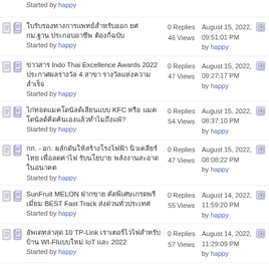Thai text topic about something Started by happy | 0 Replies 46 Views | August 15, 2022, 09:51:01 PM by happy
ข่าวสาร Indo Thai Excellence Awards 2022 ประกาศผล 4 สาขา รางวัลแห่ง ความสำเร็จ Started by happy | 0 Replies 47 Views | August 15, 2022, 09:27:17 PM by happy
Thai text topic about KFC Started by happy | 0 Replies 54 Views | August 15, 2022, 08:37:10 PM by happy
กก. - อก. Thai text long topic Started by happy | 0 Replies 47 Views | August 15, 2022, 08:08:22 PM by happy
SunFruit MELON ฝากขาย คัดพิเศษเกรด BEST Fast Track ส่งด่วนทั่วประเทศ Started by happy | 0 Replies 55 Views | August 14, 2022, 11:59:20 PM by happy
อัพเดทล่าสุด 10 TP-Link เราเตอร์ไวไฟสำหรับบ้าน WI-FIแบบใหม่ IoT และ 2022 Started by happy | 0 Replies 57 Views | August 14, 2022, 11:29:09 PM by happy